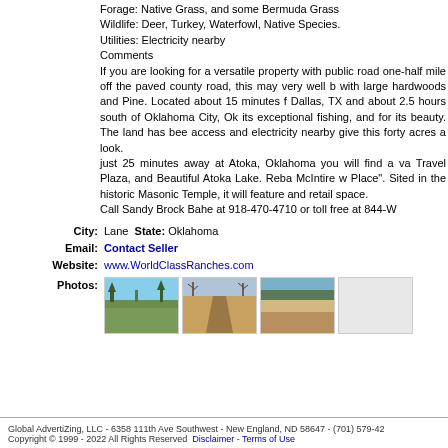Forage: Native Grass, and some Bermuda Grass
Wildlife: Deer, Turkey, Waterfowl, Native Species.
Utilities: Electricity nearby
Comments
If you are looking for a versatile property with public road one-half mile off the paved county road, this may very well be with large hardwoods and Pine. Located about 15 minutes from Dallas, TX and about 2.5 hours south of Oklahoma City, Okl its exceptional fishing, and for its beauty. The land has been access and electricity nearby give this forty acres a look.
just 25 minutes away at Atoka, Oklahoma you will find a va Travel Plaza, and Beautiful Atoka Lake. Reba McIntire w Place". Sited in the historic Masonic Temple, it will feature and retail space.
Call Sandy Brock Bahe at 918-470-4710 or toll free at 844-W
City: Lane  State: Oklahoma
Email: Contact Seller
Website: www.WorldClassRanches.com
[Figure (photo): Three photos of land/property showing open fields with trees and sky]
Global AdvertiZing, LLC - 6358 111th Ave Southwest - New England, ND 58647 - (701) 579-42
Copyright © 1999 - 2022 All Rights Reserved  Disclaimer - Terms of Use